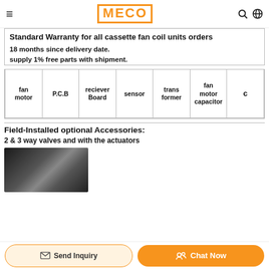≡  MECO  🔍 🌐
Standard Warranty for all cassette fan coil units orders
18 months since delivery date.
supply 1% free parts with shipment.
| fan motor | P.C.B | reciever Board | sensor | trans former | fan motor capacitor | c |
| --- | --- | --- | --- | --- | --- | --- |
|  |
Field-Installed optional Accessories:
2 & 3 way valves and with the actuators
[Figure (photo): Dark product photo of a valve or actuator component against black background]